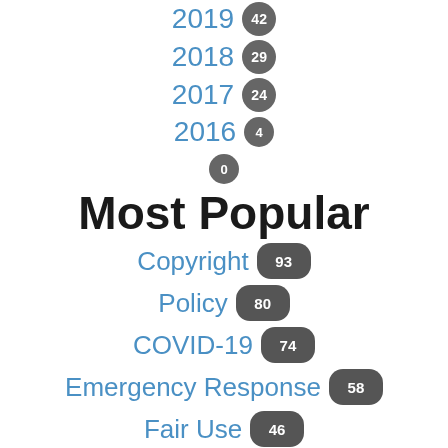2019 42
2018 29
2017 24
2016 4
0
Most Popular
Copyright 93
Policy 80
COVID-19 74
Emergency Response 58
Fair Use 46
Templates 40
Public Libraries 34
Academic Libraries 31